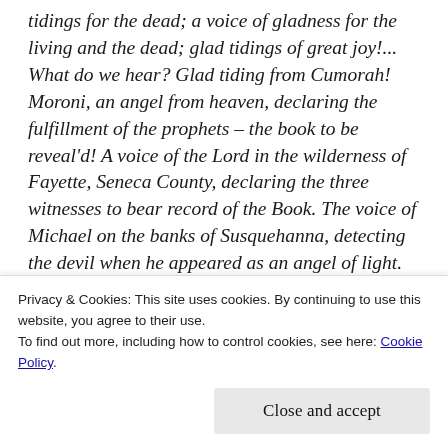tidings for the dead; a voice of gladness for the living and the dead; glad tidings of great joy!... What do we hear? Glad tiding from Cumorah! Moroni, an angel from heaven, declaring the fulfillment of the prophets – the book to be reveal'd! A voice of the Lord in the wilderness of Fayette, Seneca County, declaring the three witnesses to bear record of the Book. The voice of Michael on the banks of Susquehanna, detecting the devil when he appeared as an angel of light. The voice of Peter, James & John, in the wilderness, between Harmony, Susquehanna County, and Colesville, Broom County, on the Susquehanna County, and Colesville, Broom County, on the
Privacy & Cookies: This site uses cookies. By continuing to use this website, you agree to their use.
To find out more, including how to control cookies, see here: Cookie Policy.
Close and accept